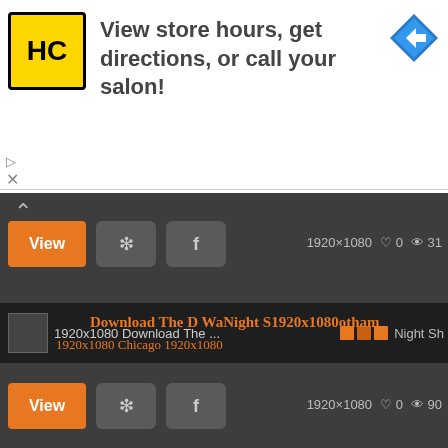[Figure (screenshot): Advertisement banner for HC (Hair Cuttery) salon with yellow logo, text 'View store hours, get directions, or call your salon!' and a blue navigation arrow icon]
[Figure (screenshot): Dark UI showing wallpaper gallery with View/Pinterest/Facebook buttons, resolution info 1920x1080, heart and eye counters, overlapping orange text titles 'Download The...', 'a Night Chicago Gotham', 1920x1080 labels, orange squares, and a black loading area with three orange dots]